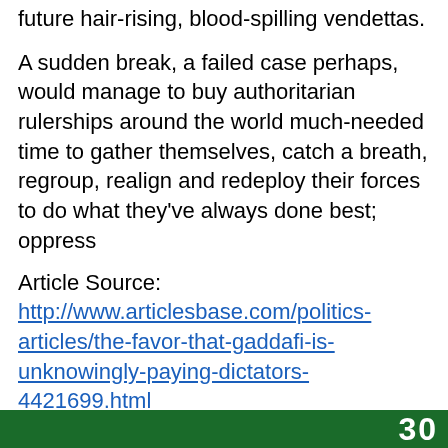future hair-rising, blood-spilling vendettas.
A sudden break, a failed case perhaps, would manage to buy authoritarian rulerships around the world much-needed time to gather themselves, catch a breath, regroup, realign and redeploy their forces to do what they've always done best; oppress
Article Source:
http://www.articlesbase.com/politics-articles/the-favor-that-gaddafi-is-unknowingly-paying-dictators-4421699.html
Author: Hamed Halawani
About the Author
[Figure (other): Green banner bar at the bottom of the page with white numbers/logo]